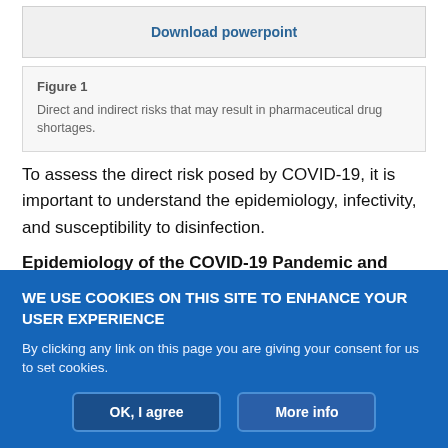Download powerpoint
Figure 1
Direct and indirect risks that may result in pharmaceutical drug shortages.
To assess the direct risk posed by COVID-19, it is important to understand the epidemiology, infectivity, and susceptibility to disinfection.
Epidemiology of the COVID-19 Pandemic and Related Outbreaks
WE USE COOKIES ON THIS SITE TO ENHANCE YOUR USER EXPERIENCE
By clicking any link on this page you are giving your consent for us to set cookies.
OK, I agree
More info